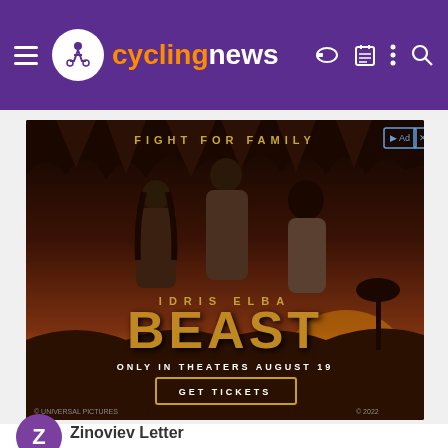cyclingnews
[Figure (photo): Advertisement for the movie 'Beast' starring Idris Elba. Shows three people against a dark dramatic background with large animal teeth visible. Text reads: FIGHT FOR FAMILY, IDRIS ELBA, BEAST, ONLY IN THEATERS AUGUST 19, GET TICKETS]
Zinoviev Letter
[Figure (photo): Advertisement banner: 20% OFF Britax One4Life 2pk, one 4 life cadet, www.albeebaby.com. Shows a car seat product image with 25% tag.]